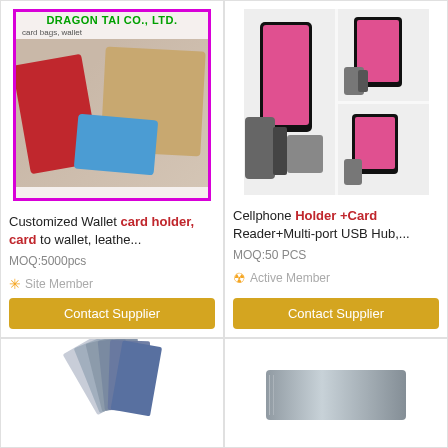[Figure (photo): Product listing for customized wallet card holder - Dragon Tai Co Ltd branding with red, blue, and tan wallets]
Customized Wallet card holder, card to wallet, leathe...
MOQ:5000pcs
Site Member
Contact Supplier
[Figure (photo): Product listing for Cellphone Holder + Card Reader + Multi-port USB Hub in pink/black color]
Cellphone Holder +Card Reader+Multi-port USB Hub,...
MOQ:50 PCS
Active Member
Contact Supplier
[Figure (photo): Bottom left: Card holder fan/accordion style wallet in grey/blue tones]
[Figure (photo): Bottom right: Silver metallic card holder product]